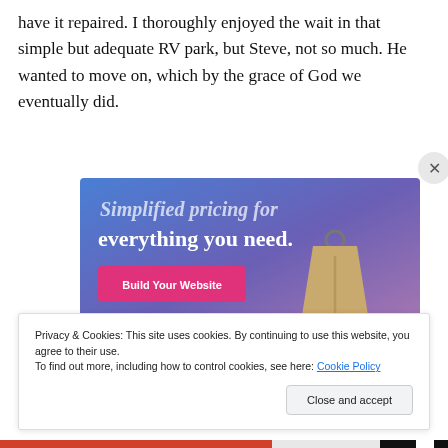have it repaired. I thoroughly enjoyed the wait in that simple but adequate RV park, but Steve, not so much. He wanted to move on, which by the grace of God we eventually did.
[Figure (screenshot): Advertisement banner with purple-blue gradient background showing text 'Simplified pricing for everything you need.' with a pink 'Build Your Website' button and a tan price-tag graphic on the right.]
Privacy & Cookies: This site uses cookies. By continuing to use this website, you agree to their use.
To find out more, including how to control cookies, see here: Cookie Policy
Close and accept